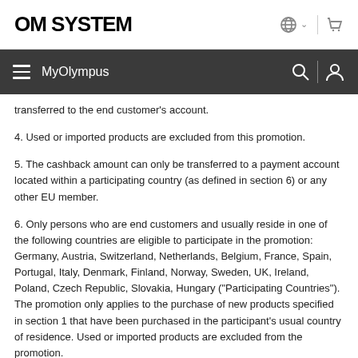OM SYSTEM
MyOlympus
transferred to the end customer's account.
4. Used or imported products are excluded from this promotion.
5. The cashback amount can only be transferred to a payment account located within a participating country (as defined in section 6) or any other EU member.
6. Only persons who are end customers and usually reside in one of the following countries are eligible to participate in the promotion: Germany, Austria, Switzerland, Netherlands, Belgium, France, Spain, Portugal, Italy, Denmark, Finland, Norway, Sweden, UK, Ireland, Poland, Czech Republic, Slovakia, Hungary ("Participating Countries"). The promotion only applies to the purchase of new products specified in section 1 that have been purchased in the participant's usual country of residence. Used or imported products are excluded from the promotion.